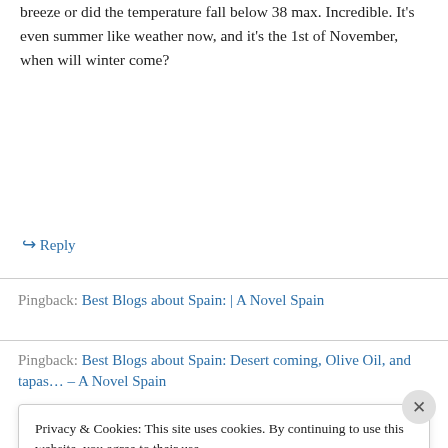breeze or did the temperature fall below 38 max. Incredible. It's even summer like weather now, and it's the 1st of November, when will winter come?
↳ Reply
Pingback: Best Blogs about Spain: | A Novel Spain
Pingback: Best Blogs about Spain: Desert coming, Olive Oil, and tapas… – A Novel Spain
Privacy & Cookies: This site uses cookies. By continuing to use this website, you agree to their use.
To find out more, including how to control cookies, see here: Cookie Policy
Close and accept